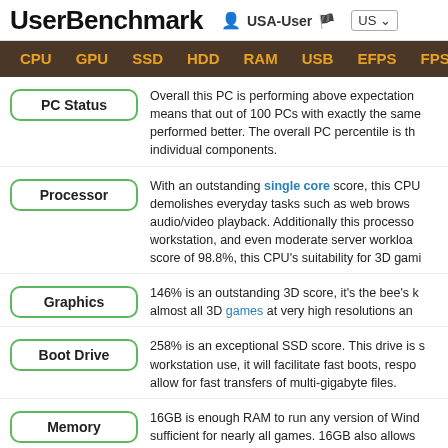UserBenchmark  USA-User  US
CPU  GPU  SSD  HDD  RAM  USB  EFPS  FPS  Sk
PC Status: Overall this PC is performing above expectation means that out of 100 PCs with exactly the same performed better. The overall PC percentile is th individual components.
Processor: With an outstanding single core score, this CPU demolishes everyday tasks such as web brows audio/video playback. Additionally this processo workstation, and even moderate server workloa score of 98.8%, this CPU's suitability for 3D gami
Graphics: 146% is an outstanding 3D score, it's the bee's k almost all 3D games at very high resolutions an
Boot Drive: 258% is an exceptional SSD score. This drive is s workstation use, it will facilitate fast boots, respo allow for fast transfers of multi-gigabyte files.
Memory: 16GB is enough RAM to run any version of Wind sufficient for nearly all games. 16GB also allows system caches, software development and batc